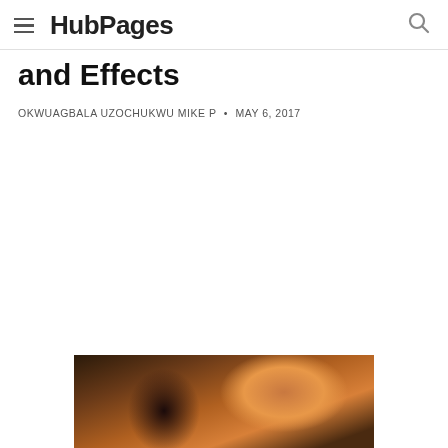HubPages
and Effects
OKWUAGBALA UZOCHUKWU MIKE P • MAY 6, 2017
[Figure (photo): A photo showing a close-up of hair/scalp on the left and orange/green fruits or vegetables on the right]